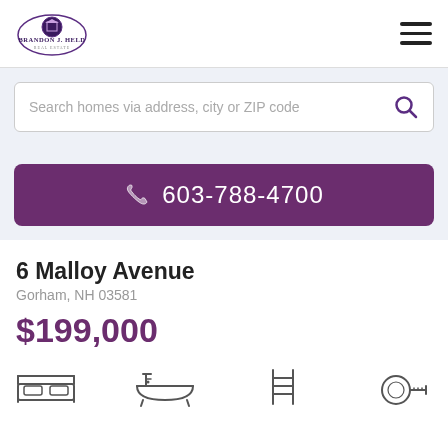[Figure (logo): Brandon J. Held Real Estate logo with circular emblem]
Search homes via address, city or ZIP code
☎ 603-788-4700
6 Malloy Avenue
Gorham, NH 03581
$199,000
[Figure (illustration): Row of property feature icons: bed, bath, pool/ladder, and tape measure]